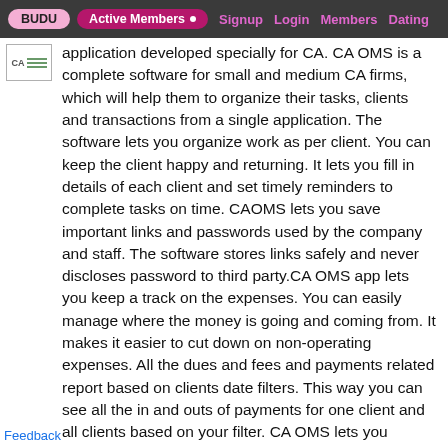BUDU | Active Members • | Signup | Login | Members | Dating
[Figure (logo): Small CA logo/brand icon in a bordered box]
application developed specially for CA. CA OMS is a complete software for small and medium CA firms, which will help them to organize their tasks, clients and transactions from a single application. The software lets you organize work as per client. You can keep the client happy and returning. It lets you fill in details of each client and set timely reminders to complete tasks on time. CAOMS lets you save important links and passwords used by the company and staff. The software stores links safely and never discloses password to third party.CA OMS app lets you keep a track on the expenses. You can easily manage where the money is going and coming from. It makes it easier to cut down on non-operating expenses. All the dues and fees and payments related report based on clients date filters. This way you can see all the in and outs of payments for one client and all clients based on your filter. CA OMS lets you securely add firm details, legal and bank information, and details of partners. The
Feedback